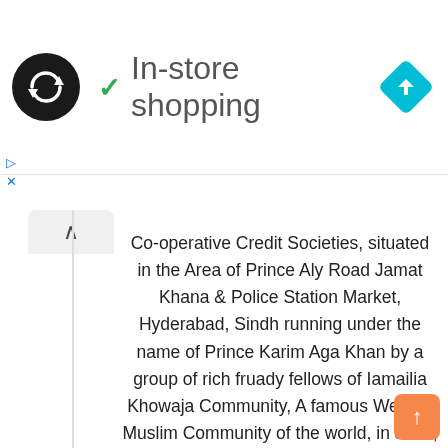[Figure (logo): Dark circular logo with double arrow/loop icon inside]
✓ In-store shopping
[Figure (other): Blue diamond navigation/directions icon]
Co-operative Credit Societies, situated in the Area of Prince Aly Road Jamat Khana & Police Station Market, Hyderabad, Sindh running under the name of Prince Karim Aga Khan by a group of rich fruady fellows of Iamailia Khowaja Community, A famous Welfare Muslim Community of the world, in June, 2005.
By the fruad mentioned above, from 300 to 400 depositers, eighty percent people of Ismailia Community including Orphans, Widows, Old People , Special Persons & Retired Pensioners of Hyderabad city and surrounding villages